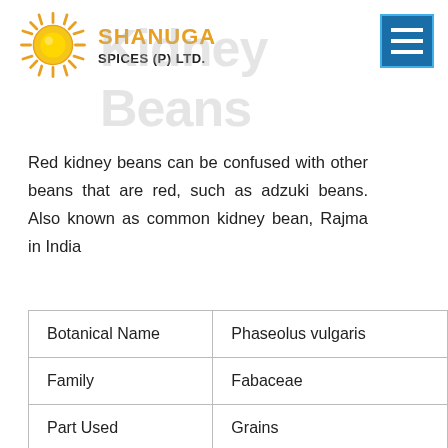[Figure (logo): Shanuga Spices (P) Ltd. logo with sun graphic and brand name]
Red kidney beans can be confused with other beans that are red, such as adzuki beans. Also known as common kidney bean, Rajma in India
| Botanical Name | Phaseolus vulgaris |
| Family | Fabaceae |
| Part Used | Grains |
| Labelling | Our brand "BestMa... |